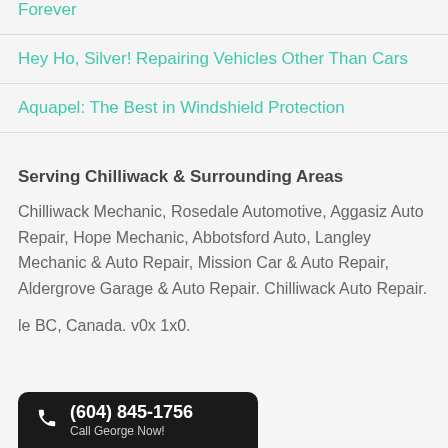Forever
Hey Ho, Silver! Repairing Vehicles Other Than Cars
Aquapel: The Best in Windshield Protection
Serving Chilliwack & Surrounding Areas
Chilliwack Mechanic, Rosedale Automotive, Aggasiz Auto Repair, Hope Mechanic, Abbotsford Auto, Langley Mechanic & Auto Repair, Mission Car & Auto Repair, Aldergrove Garage & Auto Repair. Chilliwack Auto Repair.
le BC, Canada. v0x 1x0.
(604) 845-1756 Call George Now!